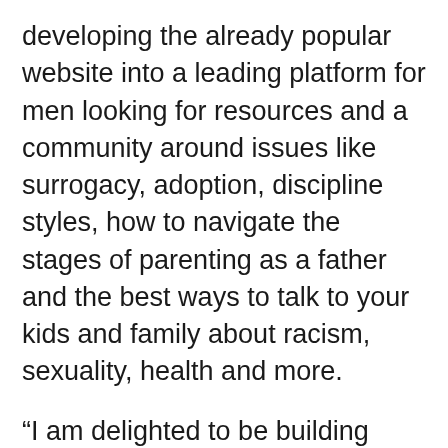developing the already popular website into a leading platform for men looking for resources and a community around issues like surrogacy, adoption, discipline styles, how to navigate the stages of parenting as a father and the best ways to talk to your kids and family about racism, sexuality, health and more.
“I am delighted to be building relationships with existing collaborators and excited to welcome new readers to Daddy’s Digest,” said Zoe Share, CEO of Schmooz Media and co-author of ABC Stay Home with Me. “As a parent myself, I